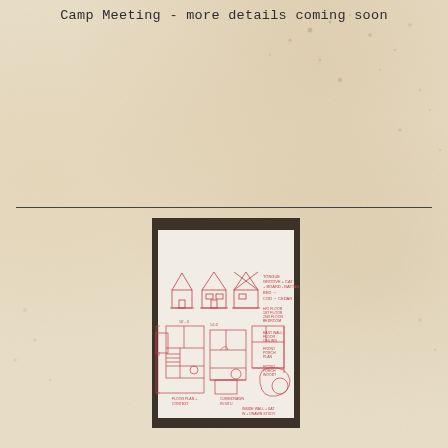Camp Meeting - more details coming soon
[Figure (engineering-diagram): Hand-drawn architectural sketch on white paper, placed on a dark wood surface. The sketch shows building elevations (front views of small cottage/cabin structures with peaked roofs) at the top, and floor plan layouts below. Drawn in red/pink marker or pen. Annotations are handwritten in red ink noting dimensions, room labels, and construction notes. The plans appear to show small cabin or tiny house designs with multiple layout options.]